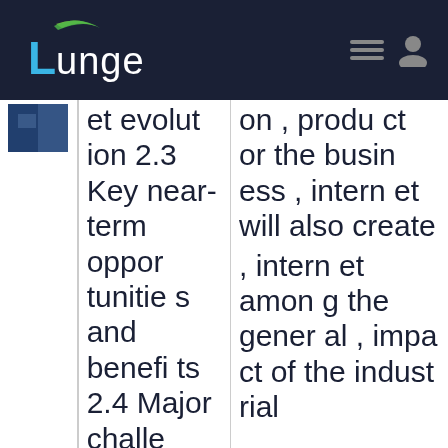Lunge (navigation bar with logo and icons)
[Figure (screenshot): Small thumbnail image showing a dark blue/navy colored photo]
et evolution 2.3 Key near-term opportunities and benefits 2.4 Major challenges and risks Convergence on the outcome
on , product or the business , internet will also create , internet among the general , impact of the industrial